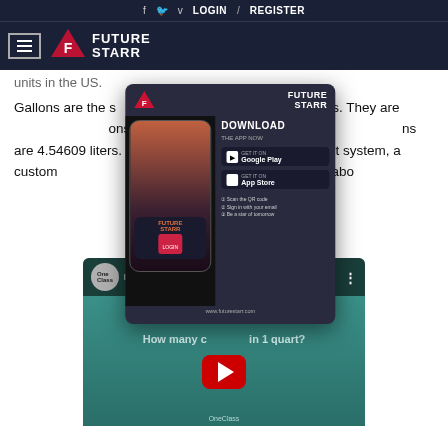f  🐦  v  LOGIN  /  REGISTER
[Figure (logo): Future Starr logo with hamburger menu icon on dark navy background]
units in the US.
Gallons are the standard unit of liquid measurement in the United States. They are … ons are 231 cubic inches, or 3… ns are 4.54609 liters. The US and … a different system, a custom… ounces. A pint is 16 ounces, or abo…
[Figure (screenshot): Future Starr app download advertisement overlay showing mobile phone, Download The App Now text, Google Play and App Store buttons, QR code, and www.futurestarr.com URL]
[Figure (screenshot): YouTube video thumbnail showing 'How many cups are in 1 qua...' by OneClass, with red play button and text 'How many cups in 1 quart?']